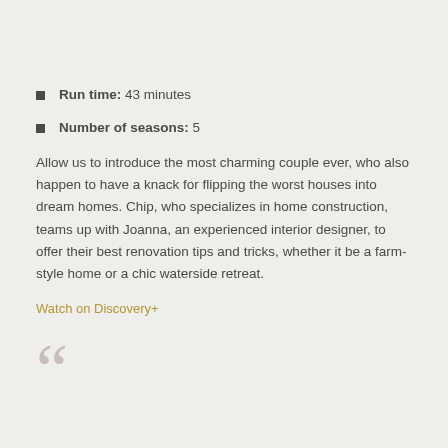Run time: 43 minutes
Number of seasons: 5
Allow us to introduce the most charming couple ever, who also happen to have a knack for flipping the worst houses into dream homes. Chip, who specializes in home construction, teams up with Joanna, an experienced interior designer, to offer their best renovation tips and tricks, whether it be a farm-style home or a chic waterside retreat.
Watch on Discovery+
[Figure (illustration): Large decorative opening quotation mark in light gray]